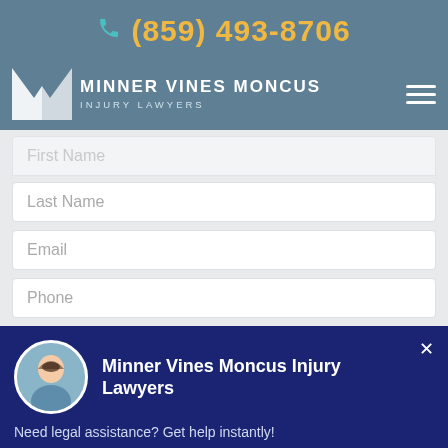(859) 493-8706
MINNER VINES MONCUS INJURY LAWYERS
First Name
Last Name
Email
Phone
Minner Vines Moncus Injury Lawyers
Need legal assistance? Get help instantly!
FREE CASE EVALUATION